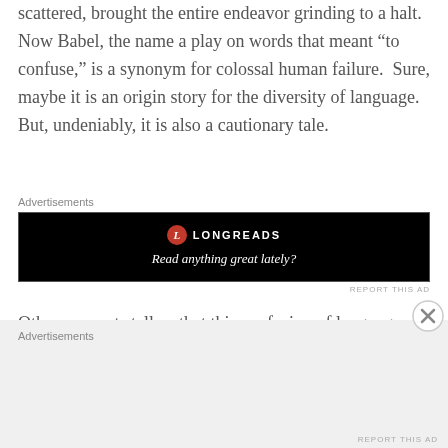scattered, brought the entire endeavor grinding to a halt.  Now Babel, the name a play on words that meant “to confuse,” is a synonym for colossal human failure.  Sure, maybe it is an origin story for the diversity of language.  But, undeniably, it is also a cautionary tale.
[Figure (other): Longreads advertisement banner with black background. Shows Longreads logo (red circle with L) and text 'Read anything great lately?']
Other accounts tell us that this confusion of languages, by God, was to save humanity from the total destruction of another flood.  In other words, it was an act of mercy to
[Figure (other): Bottom advertisements section with light grey background, partially visible.]